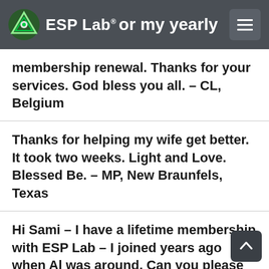ESP Lab
for my yearly membership renewal. Thanks for your services. God bless you all. – CL, Belgium
Thanks for helping my wife get better. It took two weeks. Light and Love. Blessed Be. – MP, New Braunfels, Texas
Hi Sami – I have a lifetime membership with ESP Lab – I joined years ago when Al was around. Can you please send me a username and password